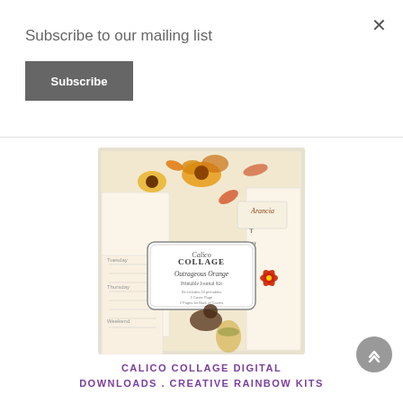Subscribe to our mailing list
Subscribe
[Figure (illustration): Product image of Calico Collage 'Outrageous Orange' Printable Journal Kit showing journal pages with autumn orange floral decorations, sunflowers, birds, and vintage style calendar pages. Center label reads 'Calico Collage Outrageous Orange Printable Journal Kit'. Top right shows 'Arancia' tag.]
CALICO COLLAGE DIGITAL DOWNLOADS . CREATIVE RAINBOW KITS